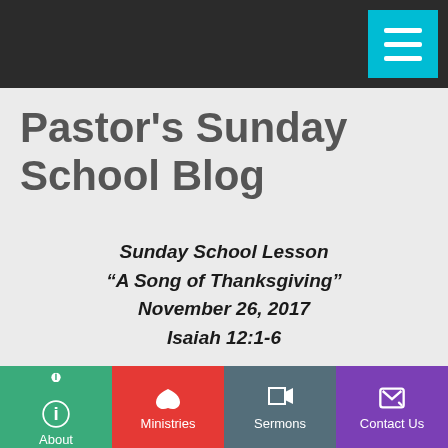Pastor's Sunday School Blog
Sunday School Lesson
“A Song of Thanksgiving”
November 26, 2017
Isaiah 12:1-6
Pastor’s Notes:
Isaiah’s song of thanksgiving
About | Ministries | Sermons | Contact Us